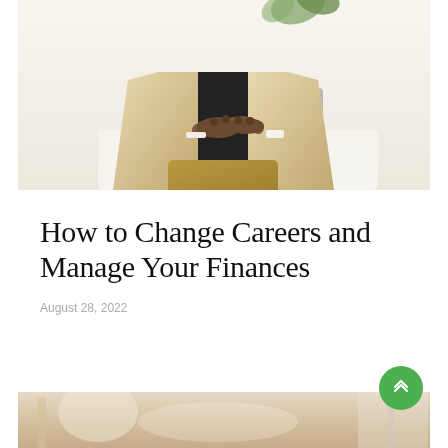[Figure (photo): A person wearing a beige blazer and mustard yellow pants sitting and typing on a laptop computer, photographed from the torso down, with a light background and a plant visible in the upper portion.]
How to Change Careers and Manage Your Finances
August 28, 2022
[Figure (photo): Partial view of a second article card showing a close-up lifestyle photo, partially cropped at the bottom of the page.]